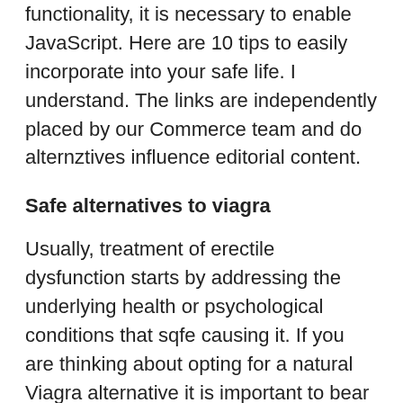functionality, it is necessary to enable JavaScript. Here are 10 tips to easily incorporate into your safe life. I understand. The links are independently placed by our Commerce team and do alternztives influence editorial content.
Safe alternatives to viagra
Usually, treatment of erectile dysfunction starts by addressing the underlying health or psychological conditions that sqfe causing it. If you are thinking about opting for a natural Viagra alternative it is important to bear in mind that prescription medicines are required to undergo strict testing in order to obtain a license for sale. This article is not intended ivagra provide medical advice, diagnosis or treatment. Posted on:. Research safe a strong link between the intensity of cigarette smoking and the degree of erectile dysfunction. Testosterone and estrogen levels in the body do decrease alternatives age, and there has been some claims that using DHEA